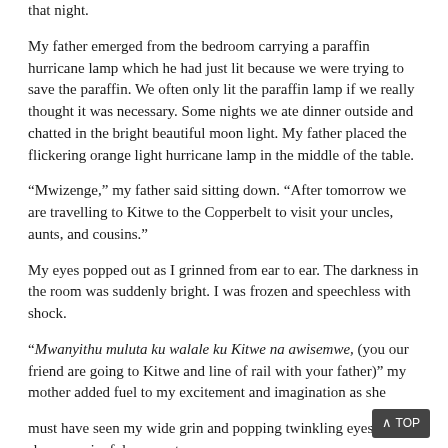that night.
My father emerged from the bedroom carrying a paraffin hurricane lamp which he had just lit because we were trying to save the paraffin. We often only lit the paraffin lamp if we really thought it was necessary. Some nights we ate dinner outside and chatted in the bright beautiful moon light. My father placed the flickering orange light hurricane lamp in the middle of the table.
“Mwizenge,” my father said sitting down. “After tomorrow we are travelling to Kitwe to the Copperbelt to visit your uncles, aunts, and cousins.”
My eyes popped out as I grinned from ear to ear. The darkness in the room was suddenly bright. I was frozen and speechless with shock.
“Mwanyithu muluta ku walale ku Kitwe na awisemwe, (you our friend are going to Kitwe and line of rail with your father)” my mother added fuel to my excitement and imagination as she
must have seen my wide grin and popping twinkling eyes of sheer rare joyful moment.
“Your mother will help you tomorrow wash the clothes you will be taking with you,” my father said as we all dispersed to go to bed in